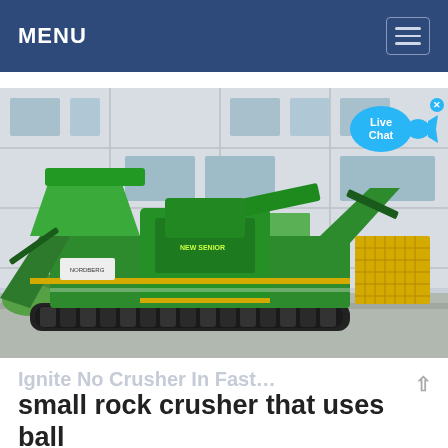MENU
[Figure (photo): Large green mobile rock crushing machine (crawler-mounted crusher/screener) parked in front of a large white industrial building. The machine is predominantly green with yellow accents, mounted on black crawler tracks.]
small rock crusher that uses ball bearings for drive